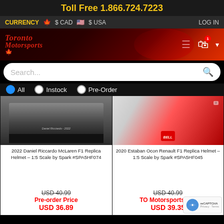Toll Free 1.866.724.7223
CURRENCY  $ CAD  $ USA  LOG IN
[Figure (logo): Toronto Motorsports logo with red script text and maple leaf]
Search...
All  Instock  Pre-Order
[Figure (photo): 2022 Daniel Riccardo McLaren F1 Replica Helmet 1:5 Scale by Spark - black display base]
[Figure (photo): 2020 Estaban Ocon Renault F1 Replica Helmet 1:5 Scale by Spark - red and yellow Bell helmet close-up]
2022 Daniel Riccardo McLaren F1 Replica Helmet – 1:5 Scale by Spark #SPA5HF074
2020 Estaban Ocon Renault F1 Replica Helmet – 1:5 Scale by Spark #SPA5HF045
USD 40.99
Pre-order Price
USD 36.89
USD 40.99
TO Motorsports Price
USD 39.35